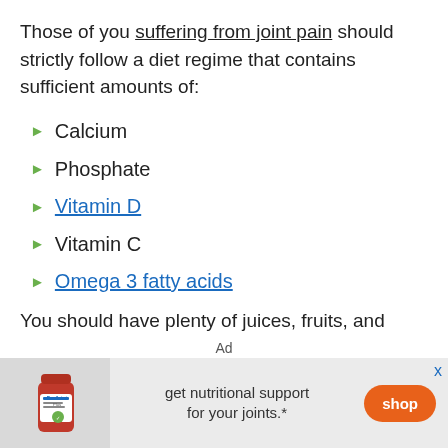Those of you suffering from joint pain should strictly follow a diet regime that contains sufficient amounts of:
Calcium
Phosphate
Vitamin D
Vitamin C
Omega 3 fatty acids
You should have plenty of juices, fruits, and
[Figure (infographic): Advertisement banner for ProJoint Plus supplement. Shows a supplement bottle on the left, text 'get nutritional support for your joints.*' in the center, and an orange 'shop' button on the right. Labeled 'Ad' at the top with an 'x' close button.]